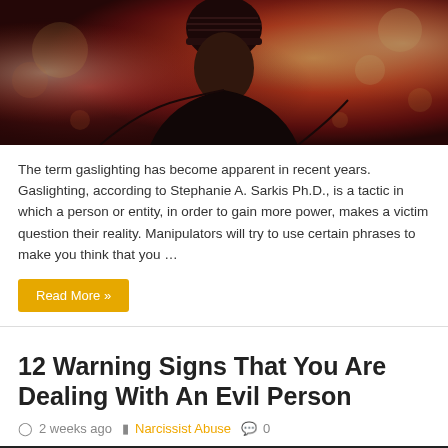[Figure (photo): A person wearing a beanie hat looking downward, photographed against a background of blurred red and warm bokeh lights. Dark, moody tone.]
The term gaslighting has become apparent in recent years. Gaslighting, according to Stephanie A. Sarkis Ph.D., is a tactic in which a person or entity, in order to gain more power, makes a victim question their reality. Manipulators will try to use certain phrases to make you think that you …
Read More »
12 Warning Signs That You Are Dealing With An Evil Person
2 weeks ago   Narcissist Abuse   0
[Figure (photo): A dark moody landscape photograph, black and white, showing a dramatic light source in the distance against a dark sky.]